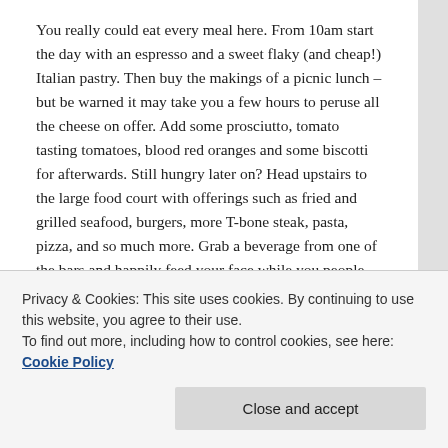You really could eat every meal here. From 10am start the day with an espresso and a sweet flaky (and cheap!) Italian pastry. Then buy the makings of a picnic lunch – but be warned it may take you a few hours to peruse all the cheese on offer. Add some prosciutto, tomato tasting tomatoes, blood red oranges and some biscotti for afterwards. Still hungry later on? Head upstairs to the large food court with offerings such as fried and grilled seafood, burgers, more T-bone steak, pasta, pizza, and so much more. Grab a beverage from one of the bars and happily feed your face while you people watch.
Vivoli
Privacy & Cookies: This site uses cookies. By continuing to use this website, you agree to their use.
To find out more, including how to control cookies, see here: Cookie Policy